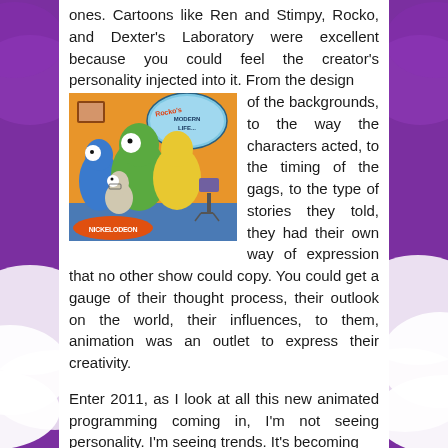ones. Cartoons like Ren and Stimpy, Rocko, and Dexter's Laboratory were excellent because you could feel the creator's personality injected into it. From the design of the backgrounds, to the way the characters acted, to the timing of the gags, to the type of stories they told, they had their own way of expression that no other show could copy. You could get a gauge of their thought process, their outlook on the world, their influences, to them, animation was an outlet to express their creativity.
[Figure (illustration): Rocko's Modern Life cartoon image showing animated characters from the Nickelodeon show, with the show logo visible and Nickelodeon branding at the bottom.]
Enter 2011, as I look at all this new animated programming coming in, I'm not seeing personality. I'm seeing trends. It's becoming